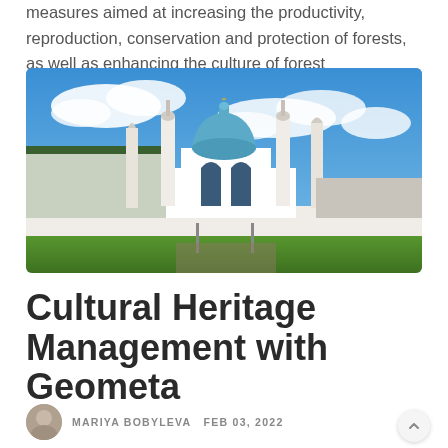measures aimed at increasing the productivity, reproduction, conservation and protection of forests, as well as enhancing the culture of forest management.
[Figure (photo): Photograph of the Kul Sharif Mosque in Kazan Kremlin with blue dome, white minarets, green lawns and blue cloudy sky]
Cultural Heritage Management with Geometa
MARIYA BOBYLEVA  FEB 03, 2022